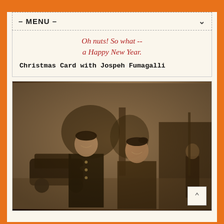- MENU -
Oh nuts! So what -- a Happy New Year.
Christmas Card with Jospeh Fumagalli
[Figure (photo): Vintage black and white sepia photograph of two young soldiers in military uniforms smiling and walking together outdoors. Behind them is an old car parked on a street, trees, a tall chimney or smokestack, and another person visible in the background on the right.]